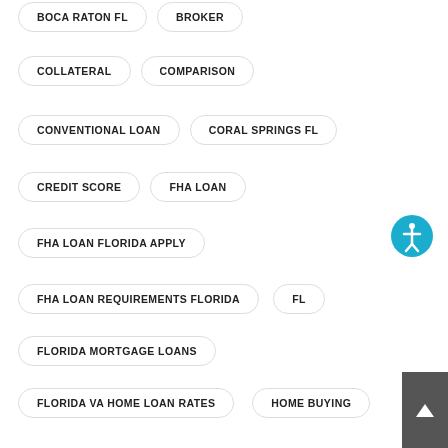BOCA RATON FL
BROKER
COLLATERAL
COMPARISON
CONVENTIONAL LOAN
CORAL SPRINGS FL
CREDIT SCORE
FHA LOAN
FHA LOAN FLORIDA APPLY
FHA LOAN REQUIREMENTS FLORIDA
FL
FLORIDA MORTGAGE LOANS
FLORIDA VA HOME LOAN RATES
HOME BUYING
HOME FINANCING
HOME FINANCING POMPANO